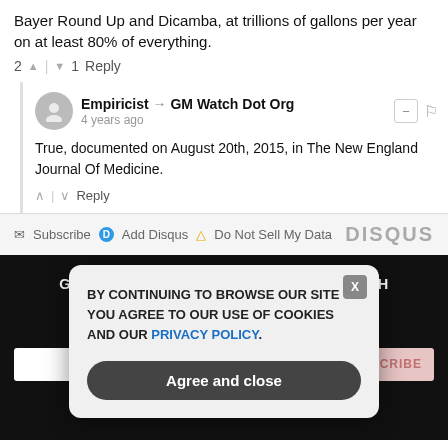Bayer Round Up and Dicamba, at trillions of gallons per year on at least 80% of everything.
2 ^ | v 1 Reply
Empiricist → GM Watch Dot Org
4 years ago
True, documented on August 20th, 2015, in The New England Journal Of Medicine.
^ | v Reply
Subscribe | Add Disqus | Do Not Sell My Data | DISQUS
GET THE WORLD'S BEST NATURAL HEALTH NEWSLETTER DELIVERED STRAIGHT TO YOUR INBOX
Enter Your Email Address
SUBSCRIBE
BY CONTINUING TO BROWSE OUR SITE YOU AGREE TO OUR USE OF COOKIES AND OUR PRIVACY POLICY.
Agree and close